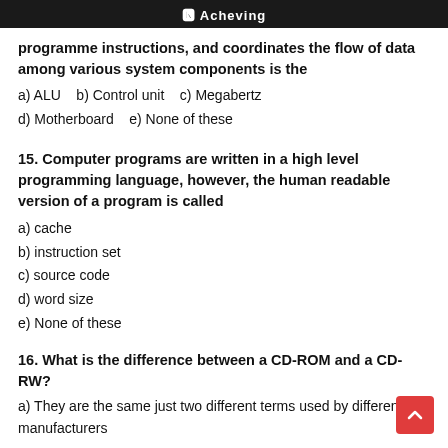Acheving
programme instructions, and coordinates the flow of data among various system components is the
a) ALU   b) Control unit   c) Megabertz
d) Motherboard   e) None of these
15. Computer programs are written in a high level programming language, however, the human readable version of a program is called
a) cache
b) instruction set
c) source code
d) word size
e) None of these
16. What is the difference between a CD-ROM and a CD-RW?
a) They are the same just two different terms used by different manufacturers